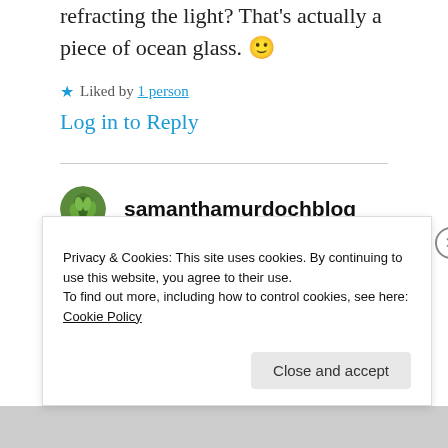refracting the light? That's actually a piece of ocean glass. 🙂
★ Liked by 1 person
Log in to Reply
samanthamurdochblog
Privacy & Cookies: This site uses cookies. By continuing to use this website, you agree to their use.
To find out more, including how to control cookies, see here: Cookie Policy
Close and accept